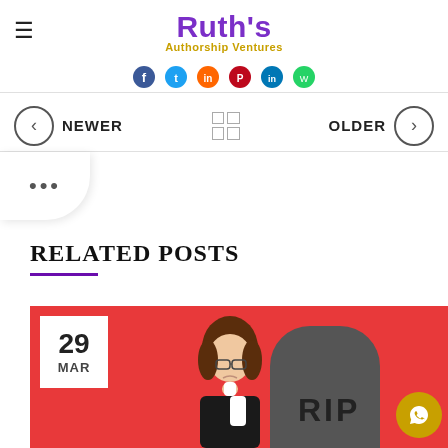Ruth's Authorship Ventures
[Figure (screenshot): Social media sharing icons row: Facebook, Twitter, color icon, Pinterest, LinkedIn, WhatsApp]
NEWER  [grid icon]  OLDER
...
RELATED POSTS
[Figure (illustration): Blog post thumbnail on red background showing illustrated woman with glasses in black clothing crying next to a gray RIP gravestone. Date badge shows 29 MAR. WhatsApp button visible bottom right.]